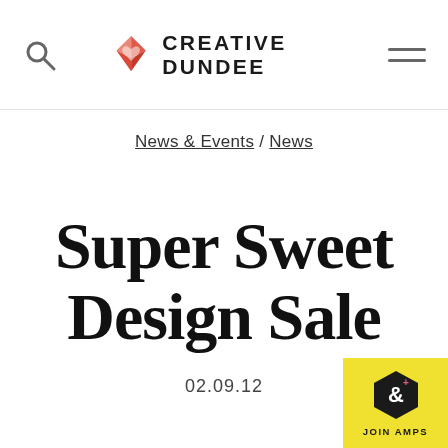Creative Dundee
News & Events / News
Super Sweet Design Sale
02.09.12
[Figure (logo): JOIN AMPS badge with hexagon icon, yellow background]